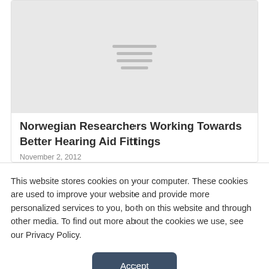[Figure (other): Gray placeholder card image with hamburger/menu lines icon in center]
Norwegian Researchers Working Towards Better Hearing Aid Fittings
November 2, 2012
This website stores cookies on your computer. These cookies are used to improve your website and provide more personalized services to you, both on this website and through other media. To find out more about the cookies we use, see our Privacy Policy.
Accept